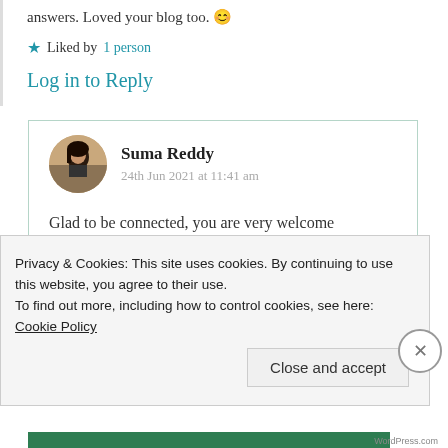answers. Loved your blog too. 😊
★ Liked by 1 person
Log in to Reply
Suma Reddy
24th Jun 2021 at 11:41 am
Glad to be connected, you are very welcome Dakshali. Of course I loved
Privacy & Cookies: This site uses cookies. By continuing to use this website, you agree to their use.
To find out more, including how to control cookies, see here: Cookie Policy
Close and accept